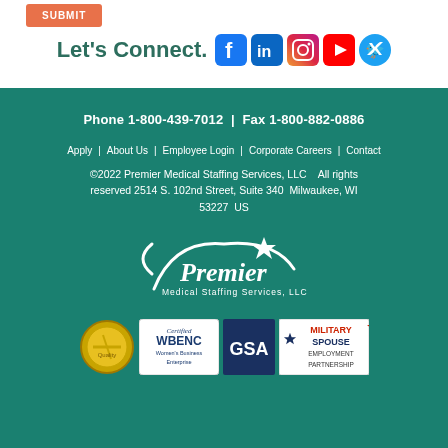[Figure (other): Submit button (orange/coral colored)]
Let's Connect.
[Figure (other): Social media icons: Facebook, LinkedIn, Instagram, YouTube, Twitter]
Phone 1-800-439-7012  |  Fax 1-800-882-0886
Apply
About Us
Employee Login
Corporate Careers
Contact
©2022 Premier Medical Staffing Services, LLC    All rights reserved 2514 S. 102nd Street, Suite 340  Milwaukee, WI 53227  US
[Figure (logo): Premier Medical Staffing Services, LLC white logo on teal background]
[Figure (logo): Gold quality badge, Certified WBENC Women's Business Enterprise badge, GSA badge, Military Spouse Employment Partnership badge]